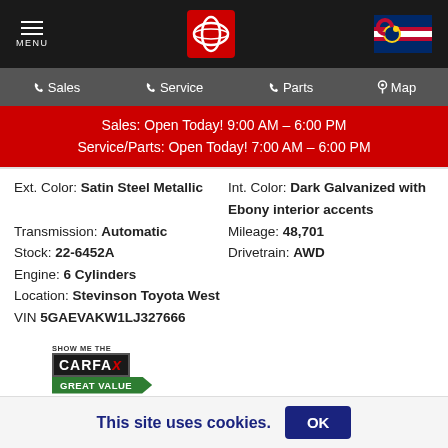MENU | Toyota | Colorado
Sales | Service | Parts | Map
Sales: Open Today! 9:00 AM – 6:00 PM
Service/Parts: Open Today! 7:00 AM – 6:00 PM
Ext. Color: Satin Steel Metallic   Int. Color: Dark Galvanized with Ebony interior accents
Transmission: Automatic   Mileage: 48,701
Stock: 22-6452A   Drivetrain: AWD
Engine: 6 Cylinders
Location: Stevinson Toyota West
VIN 5GAEVAKW1LJ327666
[Figure (logo): CARFAX Show Me The CARFAX – Great Value badge]
[Figure (infographic): Row of small icons: green checkbox, two-person icon, house icon, wrench icon]
This site uses cookies.